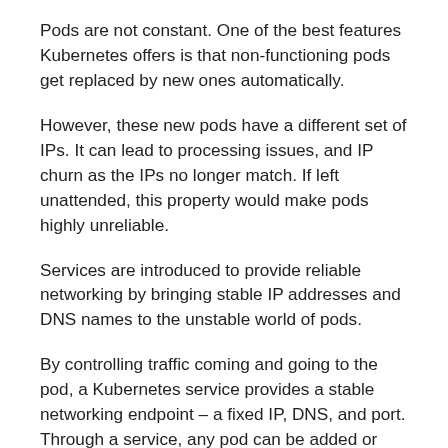Pods are not constant. One of the best features Kubernetes offers is that non-functioning pods get replaced by new ones automatically.
However, these new pods have a different set of IPs. It can lead to processing issues, and IP churn as the IPs no longer match. If left unattended, this property would make pods highly unreliable.
Services are introduced to provide reliable networking by bringing stable IP addresses and DNS names to the unstable world of pods.
By controlling traffic coming and going to the pod, a Kubernetes service provides a stable networking endpoint – a fixed IP, DNS, and port. Through a service, any pod can be added or removed without the fear that basic network information would change in any way.